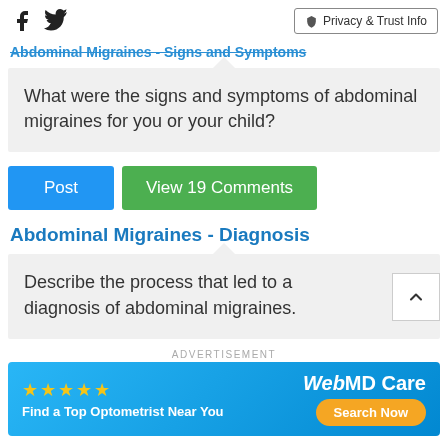Social icons and Privacy & Trust Info button
Abdominal Migraines - Signs and Symptoms
What were the signs and symptoms of abdominal migraines for you or your child?
Post
View 19 Comments
Abdominal Migraines - Diagnosis
Describe the process that led to a diagnosis of abdominal migraines.
ADVERTISEMENT
[Figure (infographic): WebMD Care advertisement banner with star rating and Find a Top Optometrist Near You with Search Now button]